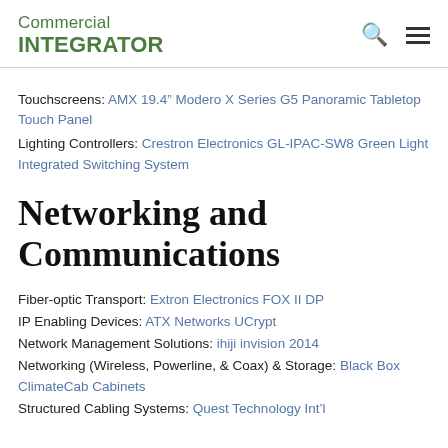Commercial INTEGRATOR
Touchscreens: AMX 19.4” Modero X Series G5 Panoramic Tabletop Touch Panel
Lighting Controllers: Crestron Electronics GL-IPAC-SW8 Green Light Integrated Switching System
Networking and Communications
Fiber-optic Transport: Extron Electronics FOX II DP
IP Enabling Devices: ATX Networks UCrypt
Network Management Solutions: ihiji invision 2014
Networking (Wireless, Powerline, & Coax) & Storage: Black Box ClimateCab Cabinets
Structured Cabling Systems: Quest Technology Int’l